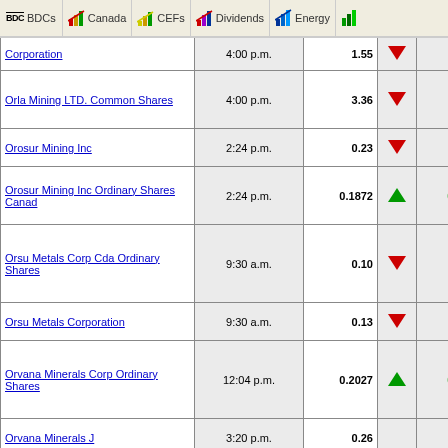BDCs | Canada | CEFs | Dividends | Energy
| Name | Time | Price |  | Change |  |
| --- | --- | --- | --- | --- | --- |
| Corporation | 4:00 p.m. | 1.55 | ▼ | 0.08 | ▼ |
| Orla Mining LTD. Common Shares | 4:00 p.m. | 3.36 | ▼ | 0.11 | ▼ |
| Orosur Mining Inc | 2:24 p.m. | 0.23 | ▼ | 0.02 | ▼ |
| Orosur Mining Inc Ordinary Shares Canad | 2:24 p.m. | 0.1872 | ▲ | 0.0372 | ▲ |
| Orsu Metals Corp Cda Ordinary Shares | 9:30 a.m. | 0.10 | ▼ | 0.02 | ▼ |
| Orsu Metals Corporation | 9:30 a.m. | 0.13 | ▼ | 0.02 | ▼ |
| Orvana Minerals Corp Ordinary Shares | 12:04 p.m. | 0.2027 | ▲ | 0.0005 | ▲ |
| Orvana Minerals J | 3:20 p.m. | 0.26 |  | UNCH |  |
| Osino Resources Corp | 3:59 p.m. | 0.57 | ▼ | 0.02 | ▼ |
| Osino Resources Corporation Canada | 3:59 p.m. | 0.434 | ▼ | 0.0275 | ▼ |
| Osisko Development | 3:59 p.m. | 6.30 | ▼ | 0.20 | ▼ |